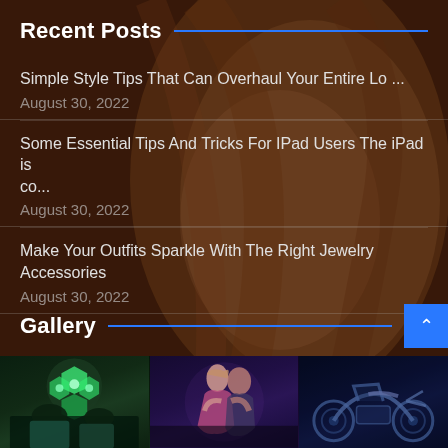Recent Posts
Simple Style Tips That Can Overhaul Your Entire Lo …
August 30, 2022
Some Essential Tips And Tricks For IPad Users The iPad is co…
August 30, 2022
Make Your Outfits Sparkle With The Right Jewelry Accessories
August 30, 2022
Gallery
[Figure (photo): Three gallery thumbnail photos: surgical operating lights, couple dancing/embracing, motorcycle or vehicle parts]
[Figure (photo): Background photo of a woman with long blonde/auburn hair, eyes closed, warm toned]